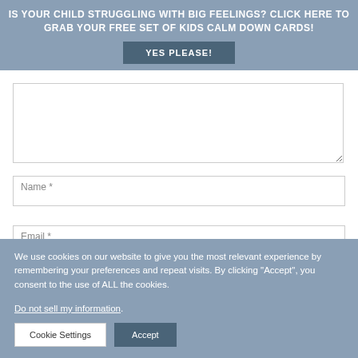IS YOUR CHILD STRUGGLING WITH BIG FEELINGS? CLICK HERE TO GRAB YOUR FREE SET OF KIDS CALM DOWN CARDS!
YES PLEASE!
Name *
Email *
We use cookies on our website to give you the most relevant experience by remembering your preferences and repeat visits. By clicking "Accept", you consent to the use of ALL the cookies.
Do not sell my information
Cookie Settings
Accept